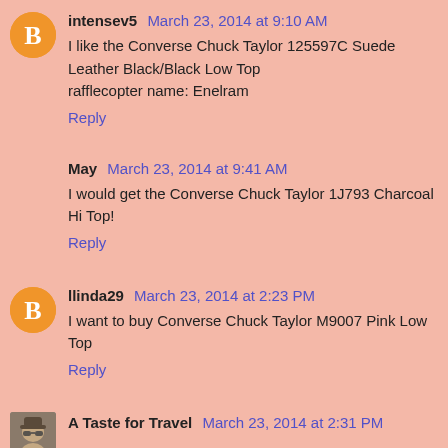intensev5 March 23, 2014 at 9:10 AM
I like the Converse Chuck Taylor 125597C Suede Leather Black/Black Low Top
rafflecopter name: Enelram
Reply
May March 23, 2014 at 9:41 AM
I would get the Converse Chuck Taylor 1J793 Charcoal Hi Top!
Reply
llinda29 March 23, 2014 at 2:23 PM
I want to buy Converse Chuck Taylor M9007 Pink Low Top
Reply
A Taste for Travel March 23, 2014 at 2:31 PM